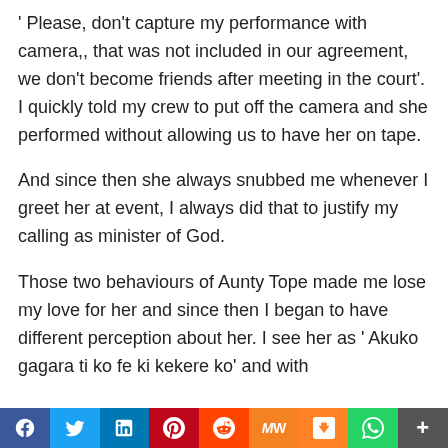' Please, don't capture my performance with camera,, that was not included in our agreement, we don't become friends after meeting in the court'. I quickly told my crew to put off the camera and she performed without allowing us to have her on tape.
And since then she always snubbed me whenever I greet her at event, I always did that to justify my calling as minister of God.
Those two behaviours of Aunty Tope made me lose my love for her and since then I began to have different perception about her. I see her as ' Akuko gagara ti ko fe ki kekere ko' and with
[Figure (infographic): Social media sharing bar with buttons for Facebook, Twitter, LinkedIn, Pinterest, Reddit, MeWe, Mix, WhatsApp, and More]